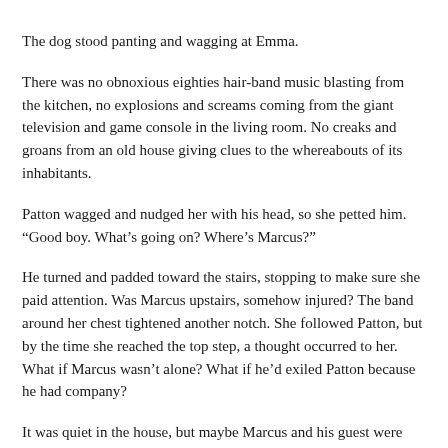The dog stood panting and wagging at Emma.
There was no obnoxious eighties hair-band music blasting from the kitchen, no explosions and screams coming from the giant television and game console in the living room. No creaks and groans from an old house giving clues to the whereabouts of its inhabitants.
Patton wagged and nudged her with his head, so she petted him. “Good boy. What’s going on? Where’s Marcus?”
He turned and padded toward the stairs, stopping to make sure she paid attention. Was Marcus upstairs, somehow injured? The band around her chest tightened another notch. She followed Patton, but by the time she reached the top step, a thought occurred to her. What if Marcus wasn’t alone? What if he’d exiled Patton because he had company?
It was quiet in the house, but maybe Marcus and his guest were